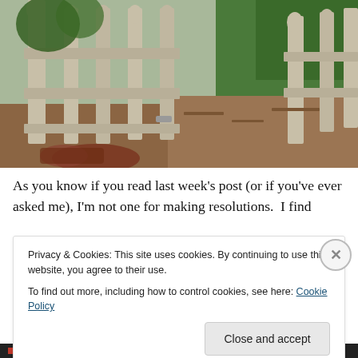[Figure (photo): Outdoor garden scene with a white wooden picket fence gate in the foreground, green plants and trees visible behind the fence, and mulched ground. Part of an animal (possibly a dog or chicken) is visible at the bottom left.]
As you know if you read last week's post (or if you've ever asked me), I'm not one for making resolutions.  I find
Privacy & Cookies: This site uses cookies. By continuing to use this website, you agree to their use.
To find out more, including how to control cookies, see here: Cookie Policy